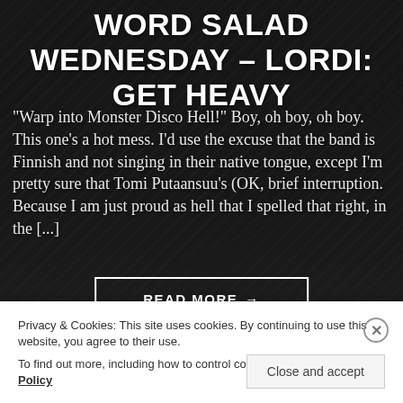WORD SALAD WEDNESDAY – LORDI: GET HEAVY
“Warp into Monster Disco Hell!” Boy, oh boy, oh boy.  This one’s a hot mess.  I’d use the excuse that the band is Finnish and not singing in their native tongue, except I’m pretty sure that Tomi Putaansuu’s (OK, brief interruption. Because I am just proud as hell that I spelled that right, in the [...]
READ MORE →
Privacy & Cookies: This site uses cookies. By continuing to use this website, you agree to their use.
To find out more, including how to control cookies, see here: Cookie Policy
Close and accept